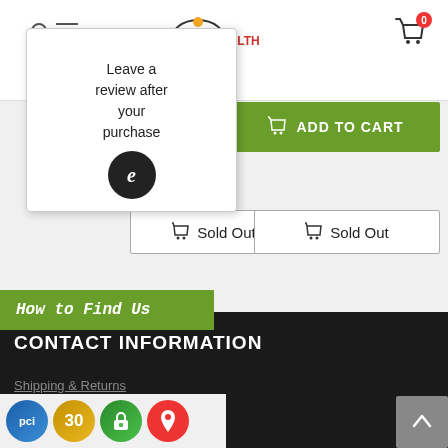[Figure (screenshot): Oasis of Health e-commerce website header with logo, search, cart icon showing 0 items, and a tooltip popup saying 'Leave a review after your purchase' with an 'e' badge icon]
Pro Garlic by Pro Garlic
★★★★★ (empty stars rating)
$ 25.00
ADD TO CART
Sold Out
Sold Out
How to Find Us
CONTACT INFORMATION
Shipping & Returns
PCI | 30 | Lock | Pin badges; scroll-to-top button